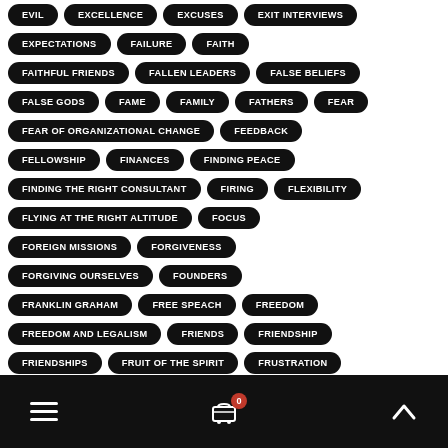EVIL
EXCELLENCE
EXCUSES
EXIT INTERVIEWS
EXPECTATIONS
FAILURE
FAITH
FAITHFUL FRIENDS
FALLEN LEADERS
FALSE BELIEFS
FALSE GODS
FAME
FAMILY
FATHERS
FEAR
FEAR OF ORGANIZATIONAL CHANGE
FEEDBACK
FELLOWSHIP
FINANCES
FINDING PEACE
FINDING THE RIGHT CONSULTANT
FIRING
FLEXIBILITY
FLYING AT THE RIGHT ALTITUDE
FOCUS
FOREIGN MISSIONS
FORGIVENESS
FORGIVING OURSELVES
FOUNDERS
FRANKLIN GRAHAM
FREE SPEACH
FREEDOM
FREEDOM AND LEGALISM
FRIENDS
FRIENDSHIP
FRIENDSHIPS
FRUIT OF THE SPIRIT
FRUSTRATION
Navigation bar with hamburger menu, cart (0 items), and scroll-to-top arrow